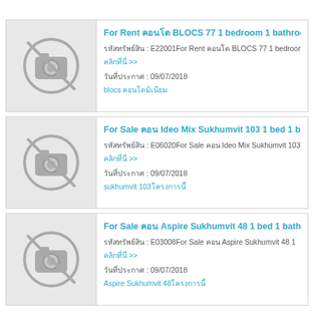[Figure (other): No image placeholder with camera icon crossed out]
For Rent คอนโด BLOCS 77 1 bedroom 1 bathroom 3...
รหัสทรัพย์สิน : E22001For Rent คอนโด BLOCS 77 1 bedroom...
วันที่ประกาศ : 09/07/2018
blocs คอนโดมิเนียม
[Figure (other): No image placeholder with camera icon crossed out]
For Sale คอน Ideo Mix Sukhumvit 103 1 bed 1 bath3...
รหัสทรัพย์สิน : E06020For Sale คอน Ideo Mix Sukhumvit 103...
วันที่ประกาศ : 09/07/2018
sukhumvit 103โครงการนี้
[Figure (other): No image placeholder with camera icon crossed out]
For Sale คอน Aspire Sukhumvit 48 1 bed 1 bath 32 s...
รหัสทรัพย์สิน : E03008For Sale คอน Aspire Sukhumvit 48 1...
วันที่ประกาศ : 09/07/2018
Aspire Sukhumvit 48โครงการนี้